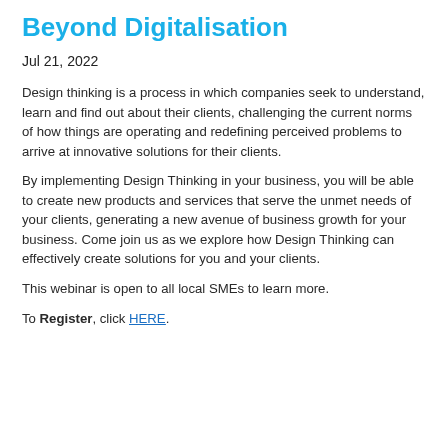Beyond Digitalisation
Jul 21, 2022
Design thinking is a process in which companies seek to understand, learn and find out about their clients, challenging the current norms of how things are operating and redefining perceived problems to arrive at innovative solutions for their clients.
By implementing Design Thinking in your business, you will be able to create new products and services that serve the unmet needs of your clients, generating a new avenue of business growth for your business. Come join us as we explore how Design Thinking can effectively create solutions for you and your clients.
This webinar is open to all local SMEs to learn more.
To Register, click HERE.